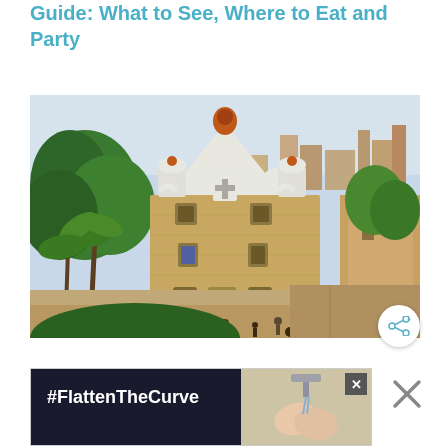Guide: What to See, Where to Eat and Party
[Figure (photo): Aerial view of Park Güell gatehouse building by Gaudí in Barcelona, Spain, showing the distinctive mosaic-topped towers and ornate stone architecture with palm trees, a city skyline in the background, and visitors in the plaza below.]
[Figure (screenshot): Advertisement banner showing '#FlattenTheCurve' text on dark background with an image of hands washing, and close buttons.]